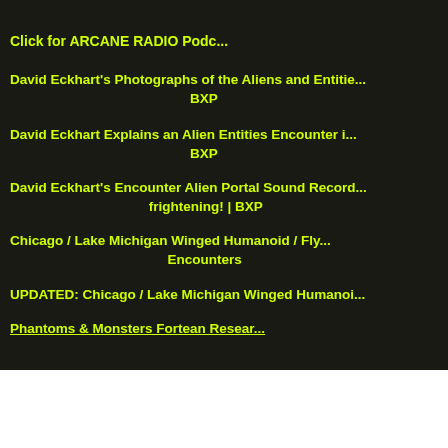Click for ARCANE RADIO Podc...
David Eckhart's Photographs of the Aliens and Entitie... BXP
David Eckhart Explains an Alien Entities Encounter i... BXP
David Eckhart's Encounter Alien Portal Sound Record... frightening! | BXP
Chicago / Lake Michigan Winged Humanoid / Fly... Encounters
UPDATED: Chicago / Lake Michigan Winged Humanoi...
Phantoms & Monsters Fortean Resear...